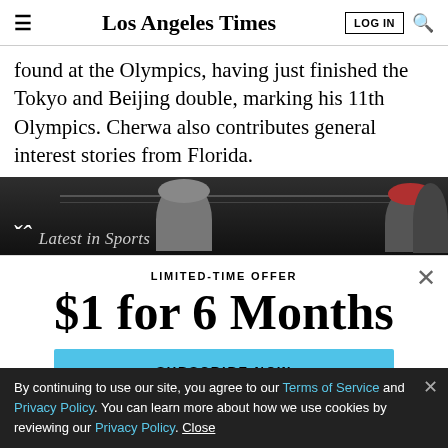Los Angeles Times
found at the Olympics, having just finished the Tokyo and Beijing double, marking his 11th Olympics. Cherwa also contributes general interest stories from Florida.
[Figure (screenshot): Dark sports banner showing two people with hats, with 'LA Latest in Sports' text overlay]
LIMITED-TIME OFFER
$1 for 6 Months
SUBSCRIBE NOW
By continuing to use our site, you agree to our Terms of Service and Privacy Policy. You can learn more about how we use cookies by reviewing our Privacy Policy. Close